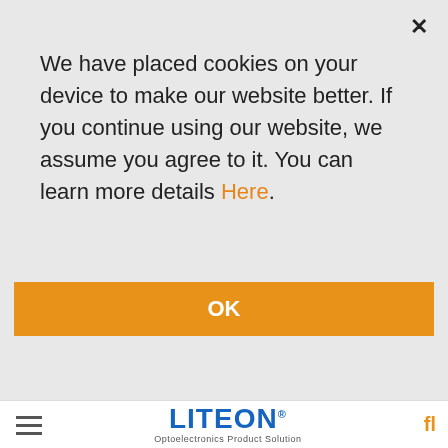We have placed cookies on your device to make our website better. If you continue using our website, we assume you agree to it. You can learn more details Here.
OK
[Figure (logo): LITEON Optoelectronics Product Solution logo]
| Label | Value |
| --- | --- |
| Size | 1.01 MB |
| Last Modified | 2010 / 06 / 23 |
| Download | ↓ |
| Part No | LTW-326DAKS-5A |